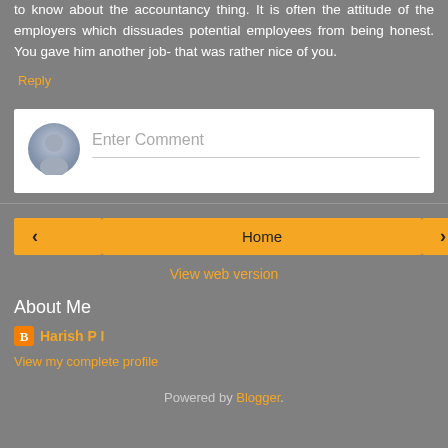to know about the accountancy thing. It is often the attitude of the employers which dissuades potential employees from being honest. You gave him another job- that was rather nice of you.
Reply
[Figure (other): Comment input box with user avatar and 'Enter Comment' placeholder text with underline]
[Figure (other): Navigation buttons: left arrow, Home center button, right arrow]
View web version
About Me
Harish P I
View my complete profile
Powered by Blogger.